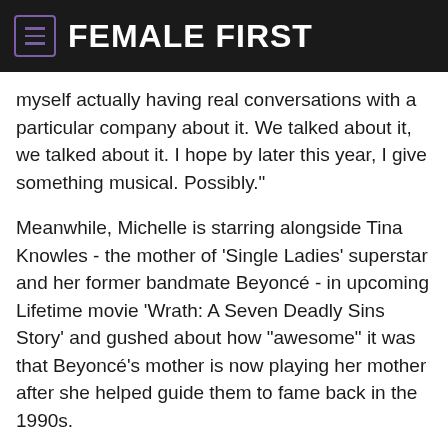FEMALE FIRST
myself actually having real conversations with a particular company about it. We talked about it, we talked about it. I hope by later this year, I give something musical. Possibly."
Meanwhile, Michelle is starring alongside Tina Knowles - the mother of 'Single Ladies' superstar and her former bandmate Beyoncé - in upcoming Lifetime movie 'Wrath: A Seven Deadly Sins Story' and gushed about how "awesome" it was that Beyoncé's mother is now playing her mother after she helped guide them to fame back in the 1990s.
She added: "It was so awesome because just before we did a scene Miss Tina ran over to fix my hair - and then they're like 'Action!' But now, for her to do this is amazing because she has been working so hard behind the scenes with us for such a long time and